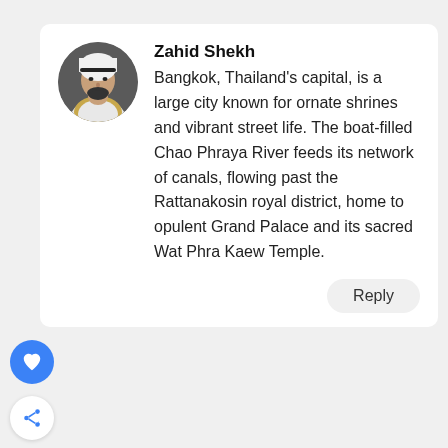[Figure (photo): Circular profile avatar of a man wearing white traditional Middle Eastern attire (thobe and ghutra)]
Zahid Shekh
Bangkok, Thailand’s capital, is a large city known for ornate shrines and vibrant street life. The boat-filled Chao Phraya River feeds its network of canals, flowing past the Rattanakosin royal district, home to opulent Grand Palace and its sacred Wat Phra Kaew Temple.
Reply